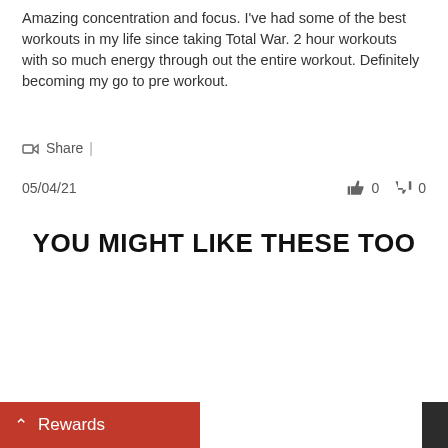Amazing concentration and focus. I've had some of the best workouts in my life since taking Total War. 2 hour workouts with so much energy through out the entire workout. Definitely becoming my go to pre workout.
Share |
05/04/21   👍 0  👎 0
YOU MIGHT LIKE THESE TOO
Rewards